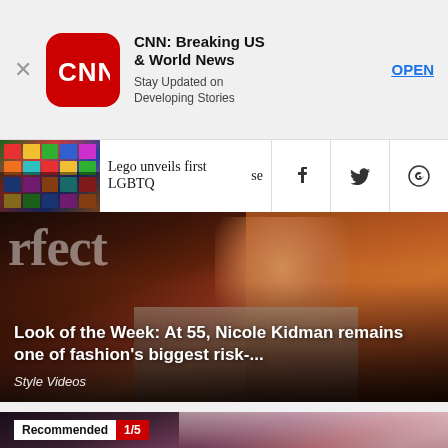[Figure (screenshot): CNN app advertisement banner with red CNN logo icon, title 'CNN: Breaking US & World News', subtitle 'Stay Updated on Developing Stories', and OPEN button]
[Figure (screenshot): Navigation share bar showing Lego LGBTQ article thumbnail, headline 'Lego unveils first LGBTQ se', and Facebook, Twitter, WhatsApp share icons]
[Figure (photo): Nicole Kidman flexing arm with red hair, magazine cover style, 'reflect' text overlay, dark background]
Look of the Week: At 55, Nicole Kidman remains one of fashion's biggest risk-...
Style Videos
[Figure (screenshot): Bottom recommended content section showing dark image with 'Recommended 1/5' badge overlay]